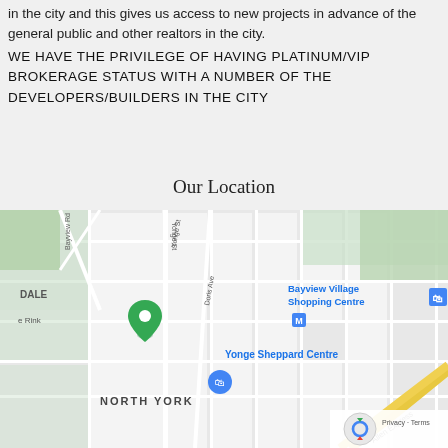in the city and this gives us access to new projects in advance of the general public and other realtors in the city.
WE HAVE THE PRIVILEGE OF HAVING PLATINUM/VIP BROKERAGE STATUS WITH A NUMBER OF THE DEVELOPERS/BUILDERS IN THE CITY
Our Location
[Figure (map): Google Maps screenshot showing North York area of Toronto, Canada, centered near Yonge and Sheppard intersection. Shows Bayview Village Shopping Centre, Yonge Sheppard Centre, Doris Ave, Yonge St, NORTH YORK label, a green map pin marker, and Allen Express road at bottom right. reCAPTCHA logo visible in bottom right corner with Privacy and Terms links.]